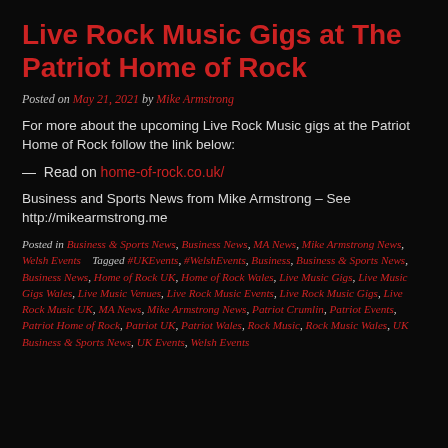Live Rock Music Gigs at The Patriot Home of Rock
Posted on May 21, 2021 by Mike Armstrong
For more about the upcoming Live Rock Music gigs at the Patriot Home of Rock follow the link below:
— Read on home-of-rock.co.uk/
Business and Sports News from Mike Armstrong – See http://mikearmstrong.me
Posted in Business & Sports News, Business News, MA News, Mike Armstrong News, Welsh Events   Tagged #UKEvents, #WelshEvents, Business, Business & Sports News, Business News, Home of Rock UK, Home of Rock Wales, Live Music Gigs, Live Music Gigs Wales, Live Music Venues, Live Rock Music Events, Live Rock Music Gigs, Live Rock Music UK, MA News, Mike Armstrong News, Patriot Crumlin, Patriot Events, Patriot Home of Rock, Patriot UK, Patriot Wales, Rock Music, Rock Music Wales, UK Business & Sports News, UK Events, Welsh Events